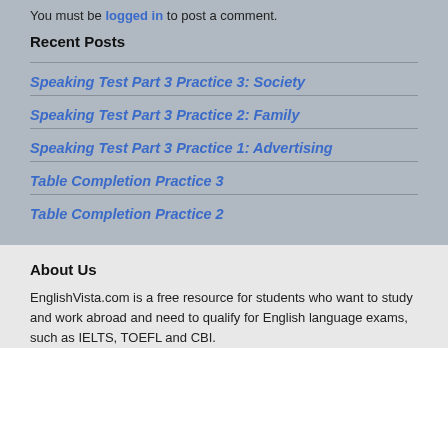You must be logged in to post a comment.
Recent Posts
Speaking Test Part 3 Practice 3: Society
Speaking Test Part 3 Practice 2: Family
Speaking Test Part 3 Practice 1: Advertising
Table Completion Practice 3
Table Completion Practice 2
About Us
EnglishVista.com is a free resource for students who want to study and work abroad and need to qualify for English language exams, such as IELTS, TOEFL and CBI.